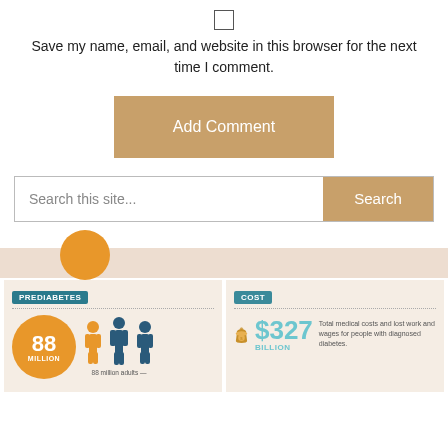[Figure (other): Checkbox (unchecked square)]
Save my name, email, and website in this browser for the next time I comment.
Add Comment
Search this site...
Search
[Figure (infographic): Diabetes infographic with two panels: PREDIABETES panel showing 88 MILLION in orange circle with human figures and text '88 million adults —'; COST panel showing money bag icon, $327 BILLION, and text 'Total medical costs and lost work and wages for people with diagnosed diabetes.']